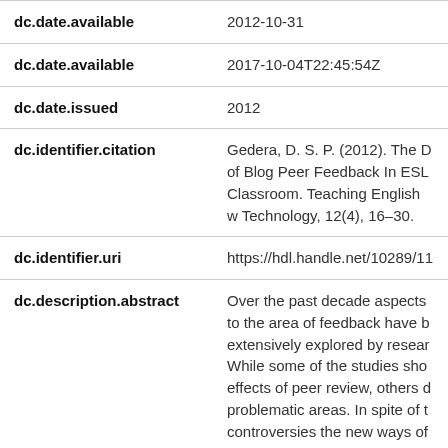| Field | Value |
| --- | --- |
| dc.date.available | 2012-10-31 |
| dc.date.available | 2017-10-04T22:45:54Z |
| dc.date.issued | 2012 |
| dc.identifier.citation | Gedera, D. S. P. (2012). The D of Blog Peer Feedback In ESL Classroom. Teaching English w Technology, 12(4), 16–30. |
| dc.identifier.uri | https://hdl.handle.net/10289/11 |
| dc.description.abstract | Over the past decade aspects to the area of feedback have b extensively explored by resear While some of the studies sho effects of peer review, others d problematic areas. In spite of t controversies the new ways of |